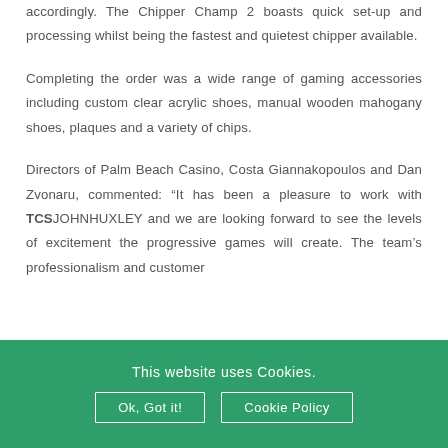accordingly. The Chipper Champ 2 boasts quick set-up and processing whilst being the fastest and quietest chipper available.
Completing the order was a wide range of gaming accessories including custom clear acrylic shoes, manual wooden mahogany shoes, plaques and a variety of chips.
Directors of Palm Beach Casino, Costa Giannakopoulos and Dan Zvonaru, commented: “It has been a pleasure to work with TCSJOHNHUXLEY and we are looking forward to see the levels of excitement the progressive games will create. The team’s professionalism and customer
This website uses Cookies.
Ok, Got it!
Cookie Policy